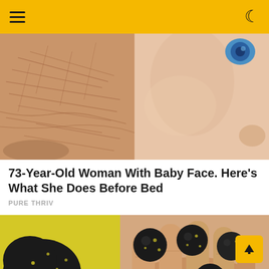Navigation header with hamburger menu and dark mode toggle
[Figure (photo): Close-up comparison of aged wrinkled skin on left and smooth baby-like skin on right]
73-Year-Old Woman With Baby Face. Here's What She Does Before Bed
PURE THRIV
[Figure (photo): Black food/supplement balls with yellow specks, shown on yellow background and held in a hand]